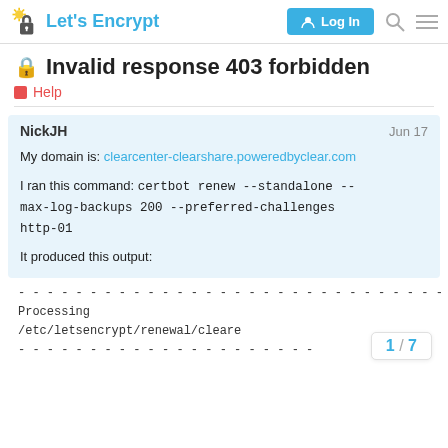Let's Encrypt — Log In
Invalid response 403 forbidden
Help
NickJH  Jun 17
My domain is: clearcenter-clearshare.poweredbyclear.com
I ran this command: certbot renew --standalone --max-log-backups 200 --preferred-challenges http-01
It produced this output:
- - - - - - - - - - - - - - - - - - - - - - - - - - - - - - -
Processing /etc/letsencrypt/renewal/cleare
- - - - - - - - - - - - - - - - - - - - -
1 / 7